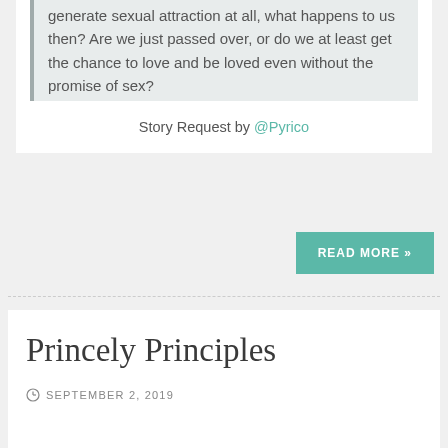generate sexual attraction at all, what happens to us then? Are we just passed over, or do we at least get the chance to love and be loved even without the promise of sex?
Story Request by @Pyrico
READ MORE »
Princely Principles
SEPTEMBER 2, 2019